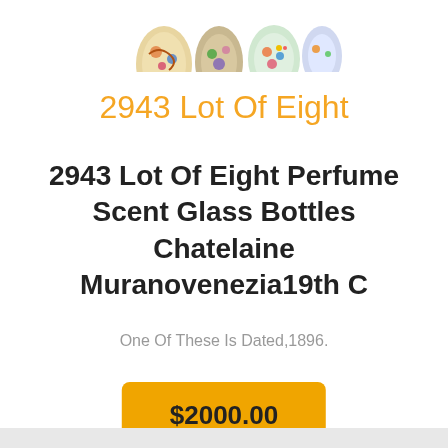[Figure (photo): Partial view of eight colorful Murano glass perfume/scent bottles with floral and swirl designs, cropped at top of page]
2943 Lot Of Eight
2943 Lot Of Eight Perfume Scent Glass Bottles Chatelaine Muranovenezia19th C
One Of These Is Dated,1896.
$2000.00